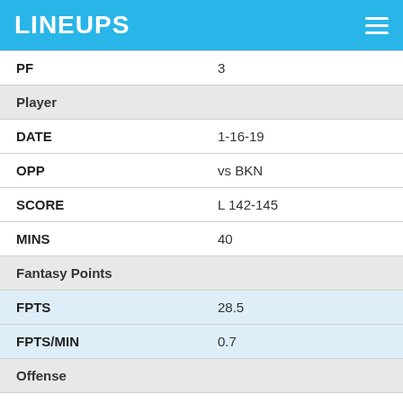LINEUPS
| PF | 3 |
| Player |  |
| DATE | 1-16-19 |
| OPP | vs BKN |
| SCORE | L 142-145 |
| MINS | 40 |
| Fantasy Points |  |
| FPTS | 28.5 |
| FPTS/MIN | 0.7 |
| Offense |  |
| PTS | 15 |
| AST | 1 |
| FGM | 5 |